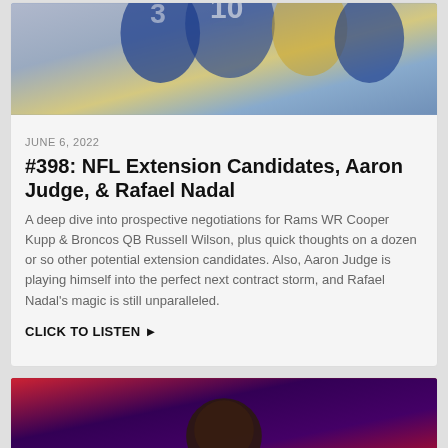[Figure (photo): Football players in blue and yellow uniforms celebrating]
JUNE 6, 2022
#398: NFL Extension Candidates, Aaron Judge, & Rafael Nadal
A deep dive into prospective negotiations for Rams WR Cooper Kupp & Broncos QB Russell Wilson, plus quick thoughts on a dozen or so other potential extension candidates. Also, Aaron Judge is playing himself into the perfect next contract storm, and Rafael Nadal's magic is still unparalleled.
CLICK TO LISTEN ▶
[Figure (photo): Basketball player (appears to be Zion Williamson) in a red uniform on basketball court]